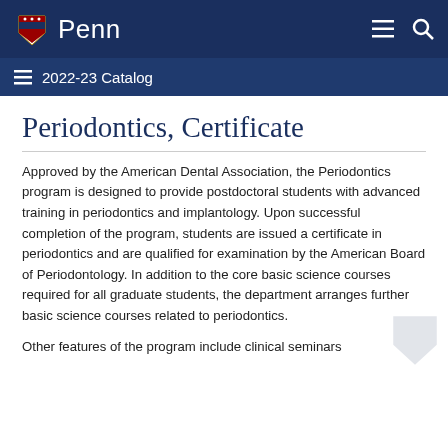Penn | 2022-23 Catalog
Periodontics, Certificate
Approved by the American Dental Association, the Periodontics program is designed to provide postdoctoral students with advanced training in periodontics and implantology. Upon successful completion of the program, students are issued a certificate in periodontics and are qualified for examination by the American Board of Periodontology. In addition to the core basic science courses required for all graduate students, the department arranges further basic science courses related to periodontics.
Other features of the program include clinical seminars